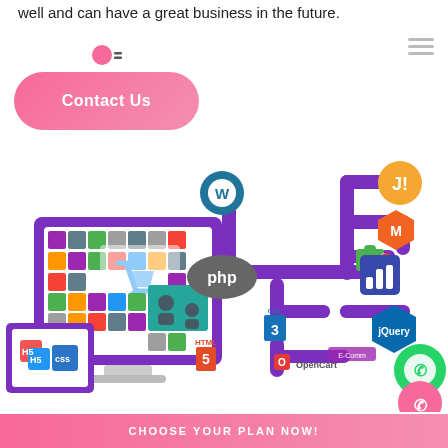well and can have a great business in the future.
[Figure (infographic): Web development technologies infographic showing a monitor with colorful UI tiles and shopping cart, connected via purple circuit-board style paths to technology logos: WordPress, PHP, CSS3, HTML5, Joomla, Magento, a puzzle piece, a chart icon, jQuery, OpenCart, and an e-commerce icon. Also shows a tablet/screen with HTML5 cubes icon.]
Contact Us
CHOOSE YOUR PLAN NOW!